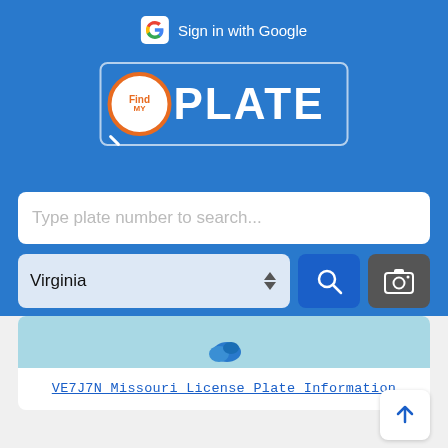[Figure (screenshot): FindPlate app screenshot showing blue header with Google Sign-in button, FindPlate logo, search bar with 'Type plate number to search...' placeholder, Virginia state selector dropdown, search button, and camera button. Below is a white card section with a Missouri license plate search result link.]
Sign in with Google
PLATE
Type plate number to search...
Virginia
VE7J7N Missouri License Plate Information